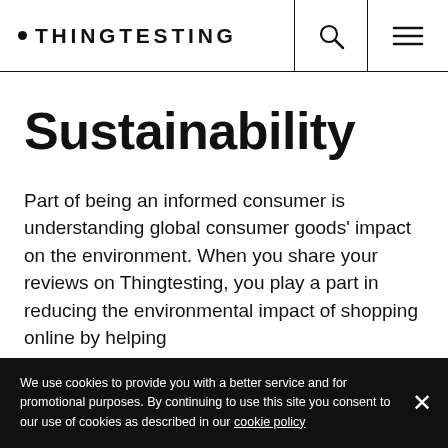•THINGTESTING
Sustainability
Part of being an informed consumer is understanding global consumer goods' impact on the environment. When you share your reviews on Thingtesting, you play a part in reducing the environmental impact of shopping online by helping
We use cookies to provide you with a better service and for promotional purposes. By continuing to use this site you consent to our use of cookies as described in our cookie policy